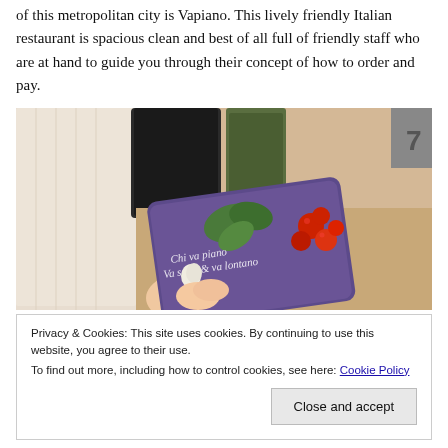of this metropolitan city is Vapiano. This lively friendly Italian restaurant is spacious clean and best of all full of friendly staff who are at hand to guide you through their concept of how to order and pay.
[Figure (photo): A hand holding a purple Vapiano loyalty/ordering card decorated with basil leaves and cherry tomatoes, against a restaurant table background with wooden elements and a dark bottle.]
Privacy & Cookies: This site uses cookies. By continuing to use this website, you agree to their use.
To find out more, including how to control cookies, see here: Cookie Policy